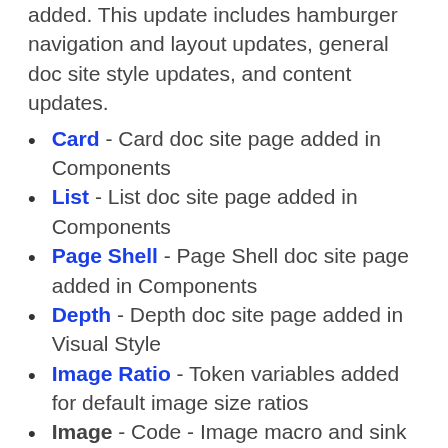added. This update includes hamburger navigation and layout updates, general doc site style updates, and content updates.
Card - Card doc site page added in Components
List - List doc site page added in Components
Page Shell - Page Shell doc site page added in Components
Depth - Depth doc site page added in Visual Style
Image Ratio - Token variables added for default image size ratios
Image - Code - Image macro and sink page added to library for consistent image...